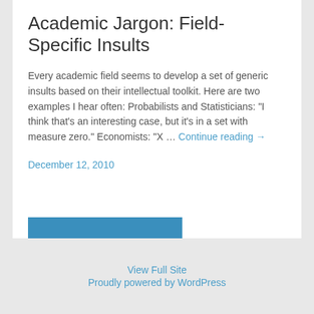Academic Jargon: Field-Specific Insults
Every academic field seems to develop a set of generic insults based on their intellectual toolkit. Here are two examples I hear often: Probabilists and Statisticians: “I think that’s an interesting case, but it’s in a set with measure zero.” Economists: “X … Continue reading →
December 12, 2010
« Older
View Full Site
Proudly powered by WordPress